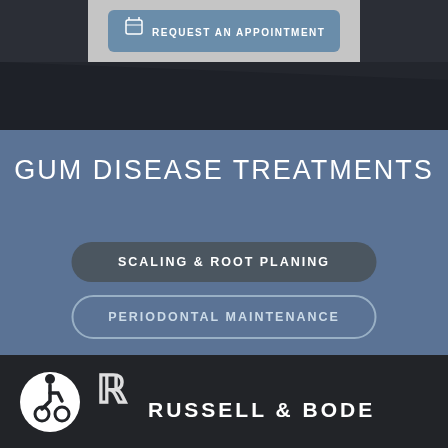[Figure (screenshot): Request an appointment button on light gray background within dark header section]
GUM DISEASE TREATMENTS
SCALING & ROOT PLANING
PERIODONTAL MAINTENANCE
[Figure (logo): Accessibility wheelchair icon in white circle, and Russell & Bode dental practice logo mark and name in footer]
RUSSELL & BODE